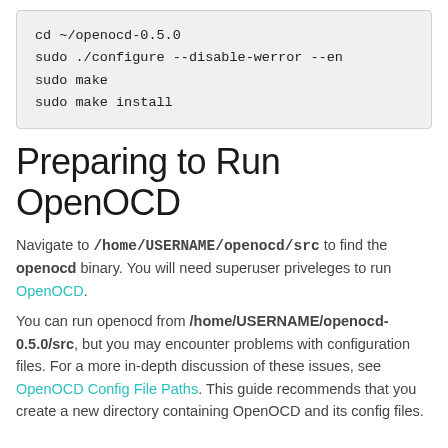cd ~/openocd-0.5.0
sudo ./configure --disable-werror --en
sudo make
sudo make install
Preparing to Run OpenOCD
Navigate to /home/USERNAME/openocd/src to find the openocd binary. You will need superuser priveleges to run OpenOCD.
You can run openocd from /home/USERNAME/openocd-0.5.0/src, but you may encounter problems with configuration files. For a more in-depth discussion of these issues, see OpenOCD Config File Paths. This guide recommends that you create a new directory containing OpenOCD and its config files.